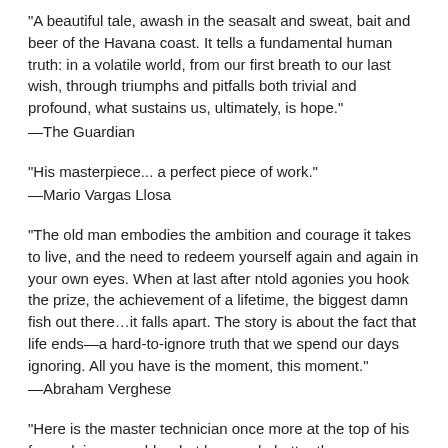“A beautiful tale, awash in the seasalt and sweat, bait and beer of the Havana coast. It tells a fundamental human truth: in a volatile world, from our first breath to our last wish, through triumphs and pitfalls both trivial and profound, what sustains us, ultimately, is hope.”
—The Guardian
“His masterpiece... a perfect piece of work.”
—Mario Vargas Llosa
“The old man embodies the ambition and courage it takes to live, and the need to redeem yourself again and again in your own eyes. When at last after ntold agonies you hook the prize, the achievement of a lifetime, the biggest damn fish out there…it falls apart. The story is about the fact that life ends—a hard-to-ignore truth that we spend our days ignoring. All you have is the moment, this moment.”
—Abraham Verghese
“Here is the master technician once more at the top of his form, doing superbly what he can do better than anyone else.”